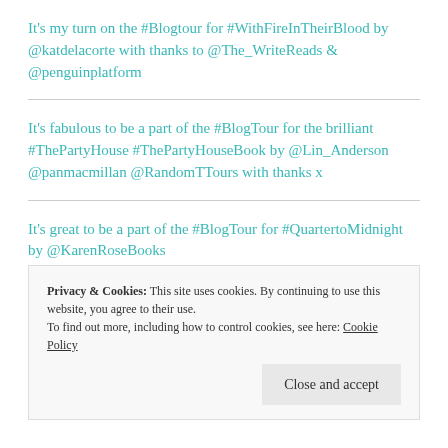It's my turn on the #Blogtour for #WithFireInTheirBlood by @katdelacorte with thanks to @The_WriteReads & @penguinplatform
It's fabulous to be a part of the #BlogTour for the brilliant #ThePartyHouse #ThePartyHouseBook by @Lin_Anderson @panmacmillan @RandomTTours with thanks x
It's great to be a part of the #BlogTour for #QuartertoMidnight by @KarenRoseBooks
Privacy & Cookies: This site uses cookies. By continuing to use this website, you agree to their use. To find out more, including how to control cookies, see here: Cookie Policy